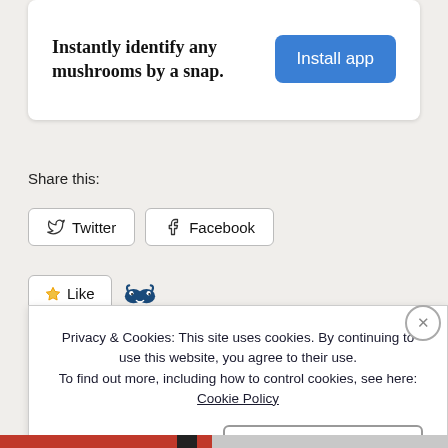[Figure (infographic): Advertisement card with text 'Instantly identify any mushrooms by a snap.' and a blue 'Install app' button]
Share this:
[Figure (infographic): Twitter share button with bird icon]
[Figure (infographic): Facebook share button with F icon]
[Figure (infographic): Like button with star icon and monster/tumblr icon]
Privacy & Cookies: This site uses cookies. By continuing to use this website, you agree to their use.
To find out more, including how to control cookies, see here: Cookie Policy
Close and accept